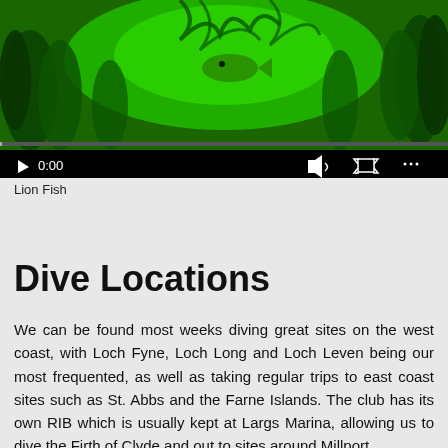[Figure (screenshot): Video player showing underwater scene with green-tinted kelp/seaweed and a fish. Video controls visible at bottom: play button, timestamp 0:00, volume icon, fullscreen icon, and settings icon. A progress bar runs along the bottom.]
Lion Fish
Dive Locations
We can be found most weeks diving great sites on the west coast, with Loch Fyne, Loch Long and Loch Leven being our most frequented, as well as taking regular trips to east coast sites such as St. Abbs and the Farne Islands. The club has its own RIB which is usually kept at Largs Marina, allowing us to dive the Firth of Clyde and out to sites around Millport,